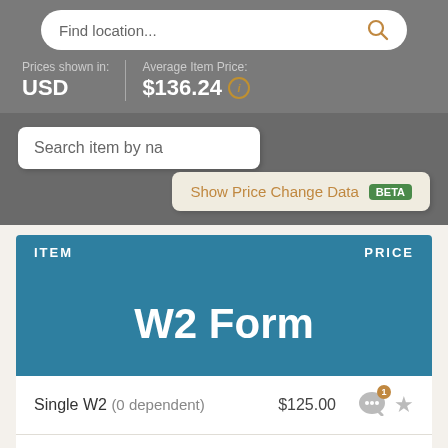Find location...
Prices shown in: USD
Average Item Price: $136.24
Search item by na
Show Price Change Data BETA
| ITEM | PRICE |
| --- | --- |
| W2 Form |  |
| Single W2 (0 dependent) | $125.00 |
| Joint W2 (0 dependent) | $125.00 |
| 1099 Form |  |